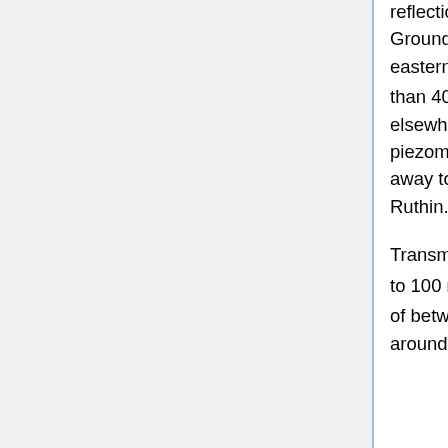reflection of recharge through the local granular superficial material. Groundwater chemistry data also suggest that the groundwater on the eastern side of the aquifer is youngest with nitrate concentrations greater than 40 mg l⁻¹ whereas concentrations of only about 4 mg l⁻¹ persist elsewhere. Intermediate concentrations occur south of Ruthin. Available piezometry in the southern block shows an overall hydraulic gradient falling away to the north, varying from 0.01 to the south of Ruthin to 0.003 north of Ruthin.
Transmissivity appears to increase from 20 m² d⁻¹ in the south increasing to 100 m² d⁻¹ near Ruthin, and increasing again to the north where values of between 660 m² d⁻¹ and 2200 m² d⁻¹ have been demonstrated at and around Llanerch